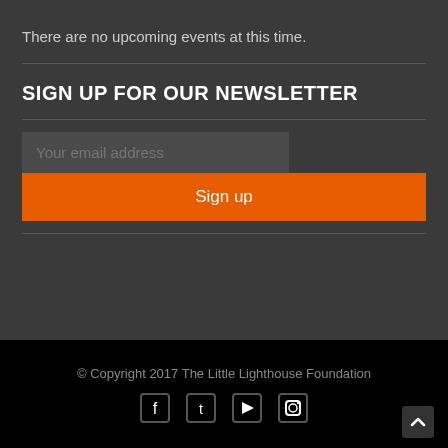There are no upcoming events at this time.
SIGN UP FOR OUR NEWSLETTER
Your email address
Sign up
© Copyright 2017 The Little Lighthouse Foundation
[Figure (other): Social media icons: Facebook, Twitter, YouTube, Instagram]